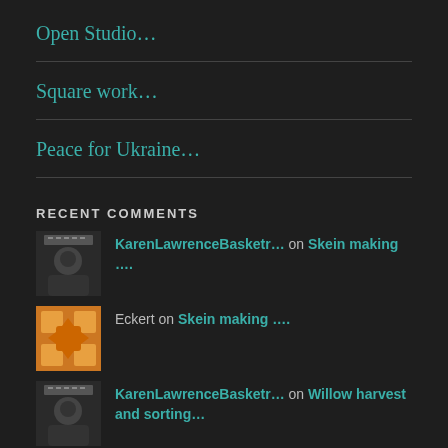Open Studio...
Square work...
Peace for Ukraine...
RECENT COMMENTS
KarenLawrenceBasketr… on Skein making ….
Eckert on Skein making ….
KarenLawrenceBasketr… on Willow harvest and sorting…